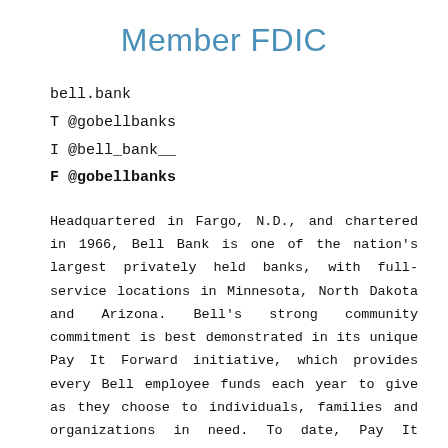Member FDIC
bell.bank
T @gobellbanks
I @bell_bank__
F @gobellbanks
Headquartered in Fargo, N.D., and chartered in 1966, Bell Bank is one of the nation’s largest privately held banks, with full-service locations in Minnesota, North Dakota and Arizona. Bell’s strong community commitment is best demonstrated in its unique Pay It Forward initiative, which provides every Bell employee funds each year to give as they choose to individuals, families and organizations in need. To date, Pay It Forward has empowered more